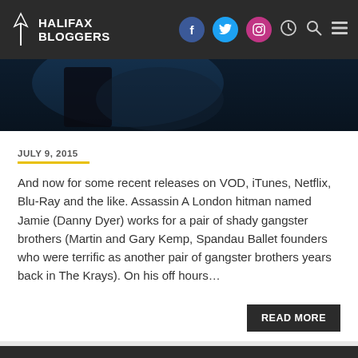HALIFAX BLOGGERS
[Figure (photo): Dark cinematic hero image strip showing a figure and car interior with blue tones]
JULY 9, 2015
And now for some recent releases on VOD, iTunes, Netflix, Blu-Ray and the like. Assassin A London hitman named Jamie (Danny Dyer) works for a pair of shady gangster brothers (Martin and Gary Kemp, Spandau Ballet founders who were terrific as another pair of gangster brothers years back in The Krays). On his off hours…
READ MORE
Atlantic Film Festival 2014: Day Two, in which I saw a lot of happy people, The Disappearance of Eleanor